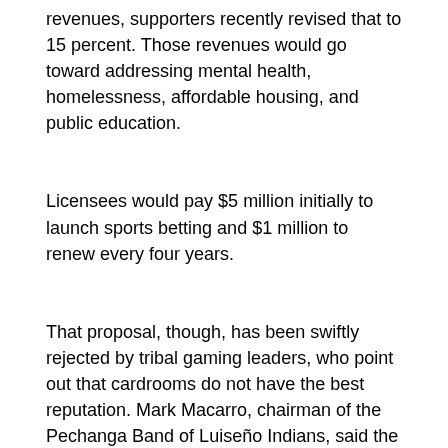revenues, supporters recently revised that to 15 percent. Those revenues would go toward addressing mental health, homelessness, affordable housing, and public education.
Licensees would pay $5 million initially to launch sports betting and $1 million to renew every four years.
That proposal, though, has been swiftly rejected by tribal gaming leaders, who point out that cardrooms do not have the best reputation. Mark Macarro, chairman of the Pechanga Band of Luiseño Indians, said the cardrooms are thought of as "bad actors," and that their effort to offer what may seem like a broad-based initiative will not fool California voters.